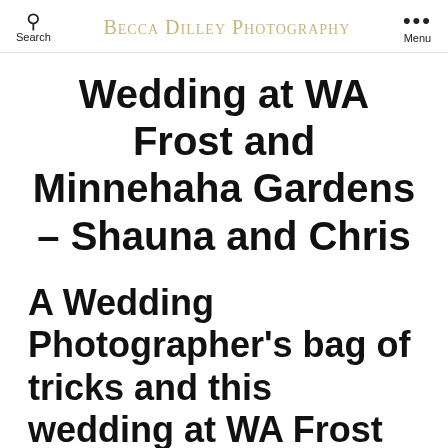Search | Becca Dilley Photography | Menu
Wedding at WA Frost and Minnehaha Gardens – Shauna and Chris
A Wedding Photographer's bag of tricks and this wedding at WA Frost